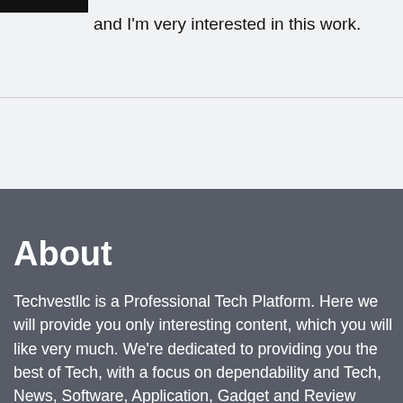and I'm very interested in this work.
About
Techvestllc is a Professional Tech Platform. Here we will provide you only interesting content, which you will like very much. We're dedicated to providing you the best of Tech, with a focus on dependability and Tech, News, Software, Application, Gadget and Review Blog. We're working to turn our passion for Tech into a booming online website. We hope you enjoy our Tech as much as we enjoy offering them to you.